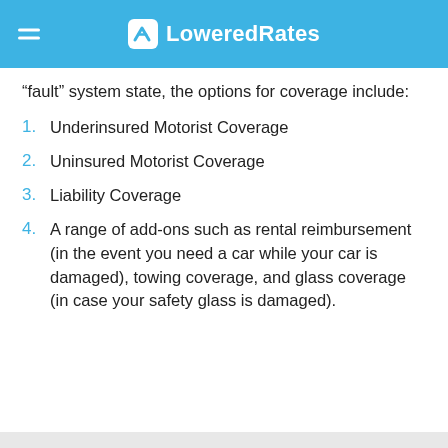LoweredRates
“fault” system state, the options for coverage include:
Underinsured Motorist Coverage
Uninsured Motorist Coverage
Liability Coverage
A range of add-ons such as rental reimbursement (in the event you need a car while your car is damaged), towing coverage, and glass coverage (in case your safety glass is damaged).